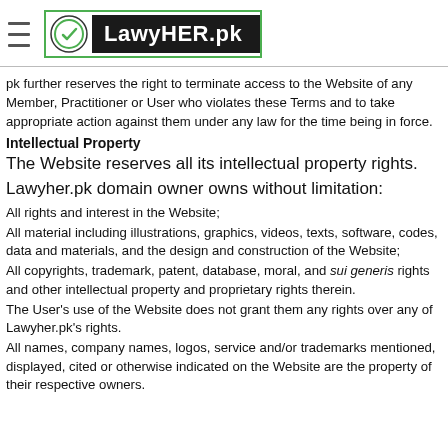LawyHER.pk
pk further reserves the right to terminate access to the Website of any Member, Practitioner or User who violates these Terms and to take appropriate action against them under any law for the time being in force.
Intellectual Property
The Website reserves all its intellectual property rights.
Lawyher.pk domain owner owns without limitation:
All rights and interest in the Website;
All material including illustrations, graphics, videos, texts, software, codes, data and materials, and the design and construction of the Website;
All copyrights, trademark, patent, database, moral, and sui generis rights and other intellectual property and proprietary rights therein.
The User's use of the Website does not grant them any rights over any of Lawyher.pk's rights.
All names, company names, logos, service and/or trademarks mentioned, displayed, cited or otherwise indicated on the Website are the property of their respective owners.